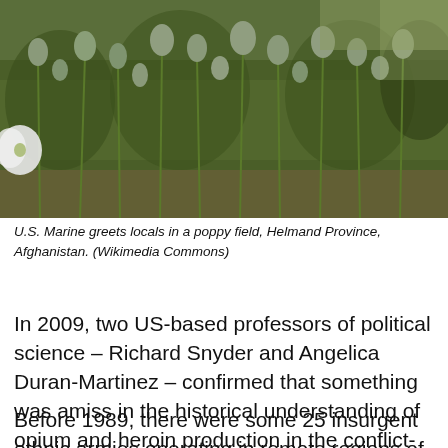[Figure (photo): Photograph of a poppy field with green poppy seed pods in mountainous or rural setting, Helmand Province, Afghanistan.]
U.S. Marine greets locals in a poppy field, Helmand Province, Afghanistan. (Wikimedia Commons)
In 2009, two US-based professors of political science – Richard Snyder and Angelica Duran-Martinez – confirmed that something was amiss in the historical understanding of opium and heroin production in the conflict-affected mountainous areas of north-eastern Myanmar.
Before 1989, there were some 25 insurgent ethnic armies operating in remote regions of the